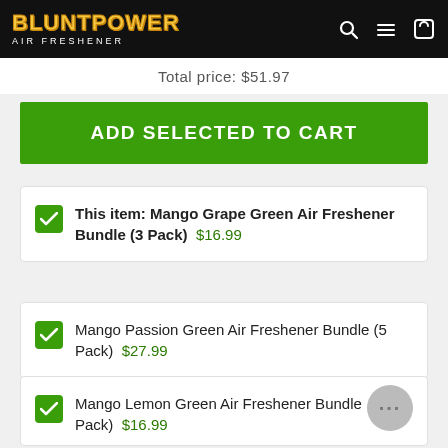BluntPower Air Freshener
Total price: $51.97
ADD SELECTED TO CART
This item: Mango Grape Green Air Freshener Bundle (3 Pack)  $16.99
Mango Passion Green Air Freshener Bundle (5 Pack)  $27.99
Mango Lemon Green Air Freshener Bundle (... Pack)  $16.99